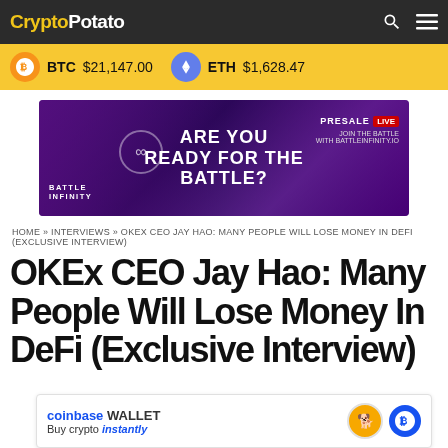CryptoPotato
BTC $21,147.00   ETH $1,628.47
[Figure (photo): Battle Infinity advertisement banner: 'ARE YOU READY FOR THE BATTLE?' with PRESALE LIVE and battleinfinity.io]
HOME » INTERVIEWS » OKEX CEO JAY HAO: MANY PEOPLE WILL LOSE MONEY IN DEFI (EXCLUSIVE INTERVIEW)
OKEx CEO Jay Hao: Many People Will Lose Money In DeFi (Exclusive Interview)
[Figure (photo): Coinbase Wallet advertisement: 'Buy crypto instantly']